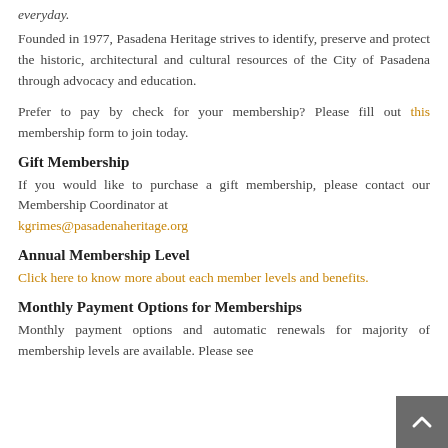everyday.
Founded in 1977, Pasadena Heritage strives to identify, preserve and protect the historic, architectural and cultural resources of the City of Pasadena through advocacy and education.
Prefer to pay by check for your membership? Please fill out this membership form to join today.
Gift Membership
If you would like to purchase a gift membership, please contact our Membership Coordinator at kgrimes@pasadenaheritage.org
Annual Membership Level
Click here to know more about each member levels and benefits.
Monthly Payment Options for Memberships
Monthly payment options and automatic renewals for majority of membership levels are available. Please see